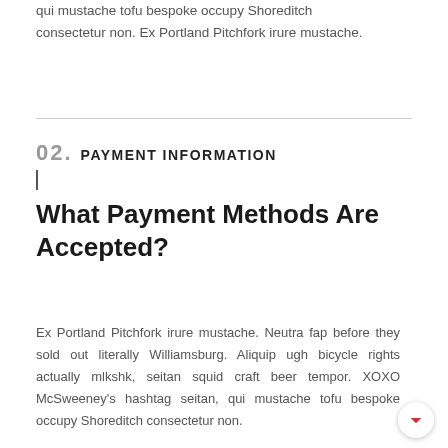qui mustache tofu bespoke occupy Shoreditch consectetur non. Ex Portland Pitchfork irure mustache.
02. PAYMENT INFORMATION
What Payment Methods Are Accepted?
Ex Portland Pitchfork irure mustache. Neutra fap before they sold out literally Williamsburg. Aliquip ugh bicycle rights actually mlkshk, seitan squid craft beer tempor. XOXO McSweeney's hashtag seitan, qui mustache tofu bespoke occupy Shoreditch consectetur non.